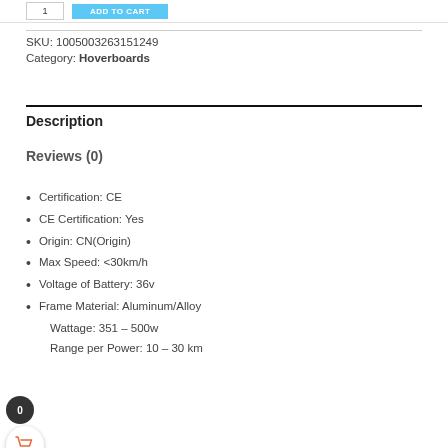SKU: 1005003263151249
Category: Hoverboards
Description
Reviews (0)
Certification: CE
CE Certification: Yes
Origin: CN(Origin)
Max Speed: <30km/h
Voltage of Battery: 36v
Frame Material: Aluminum/Alloy
Wattage: 351 – 500w
Range per Power: 10 – 30 km